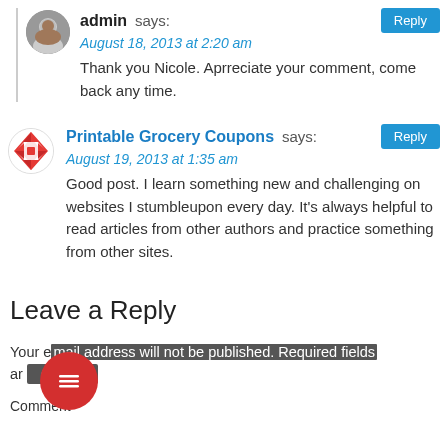admin says: August 18, 2013 at 2:20 am
Thank you Nicole. Aprreciate your comment, come back any time.
Printable Grocery Coupons says: August 19, 2013 at 1:35 am
Good post. I learn something new and challenging on websites I stumbleupon every day. It's always helpful to read articles from other authors and practice something from other sites.
Leave a Reply
Your email address will not be published. Required fields are marked *
Comment